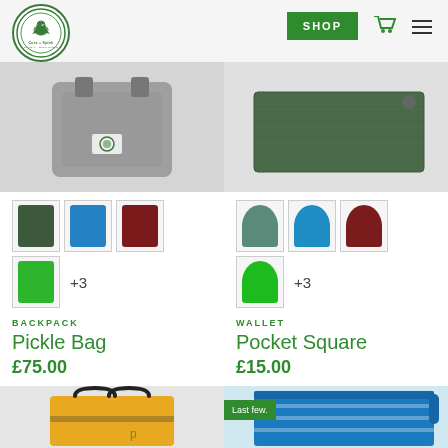[Figure (screenshot): E-commerce website header with Cora + Spink logo (circular logo with bird), green SHOP button, cart icon, and hamburger menu]
[Figure (photo): Gray backpack product image on light gray background]
[Figure (photo): Dark green wallet/pocket square product image on light gray background]
[Figure (photo): Color swatches for Pickle Bag: dark green, blue, burgundy (row 1); bright green + 3 more]
[Figure (photo): Color swatches for Pocket Square: teal green, blue, burgundy (row 1); bright green + 3 more]
BACKPACK
Pickle Bag
£75.00
WALLET
Pocket Square
£15.00
[Figure (photo): Yellow tote bag with black handles product image]
[Figure (photo): Blue collapsible cup product image with 'Last few.' green badge overlay]